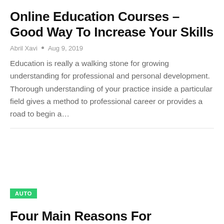Online Education Courses – Good Way To Increase Your Skills
Abril Xavi  •  Aug 9, 2019
Education is really a walking stone for growing understanding for professional and personal development. Thorough understanding of your practice inside a particular field gives a method to professional career or provides a road to begin a…
AUTO
Four Main Reasons For Implementing A Car Broker